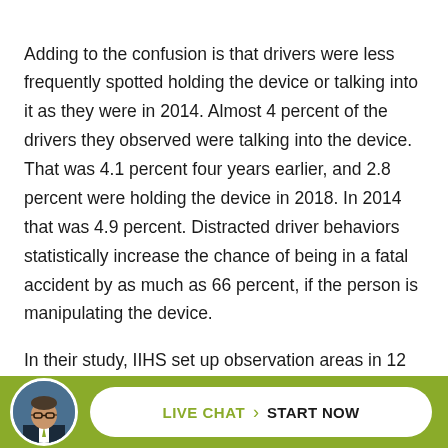Adding to the confusion is that drivers were less frequently spotted holding the device or talking into it as they were in 2014. Almost 4 percent of the drivers they observed were talking into the device. That was 4.1 percent four years earlier, and 2.8 percent were holding the device in 2018. In 2014 that was 4.9 percent. Distracted driver behaviors statistically increase the chance of being in a fatal accident by as much as 66 percent, if the person is manipulating the device.

In their study, IIHS set up observation areas in 12 locations in Virginia. They watched around 12,000
[Figure (other): Live chat widget footer bar with green background, circular avatar photo of a man in suit and glasses, and a white rounded button reading 'LIVE CHAT > START NOW']